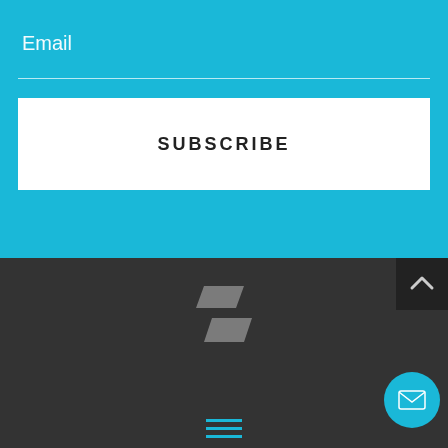Email
SUBSCRIBE
[Figure (logo): Spinoso Real Estate Group 'S' logo mark in grey on dark background]
Copyright ©2022 | All Rights Reserved
Spinoso Real Estate Group